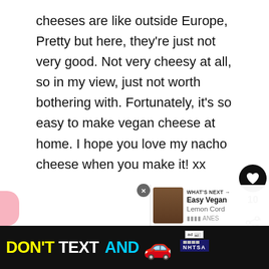cheeses are like outside Europe, Pretty but here, they're just not very good. Not very cheesy at all, so in my view, just not worth bothering with. Fortunately, it's so easy to make vegan cheese at home. I hope you love my nacho cheese when you make it! xx
REPLY
[Figure (other): Like button (heart icon in black circle) with count of 10, and share button below]
[Figure (other): NHTSA ad banner: DON'T TEXT AND [car emoji] with ad badge and NHTSA logo]
[Figure (other): What's Next panel showing Easy Vegan Lemon Curd with thumbnail]